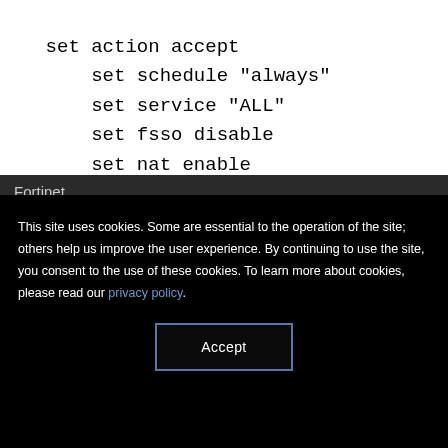set action accept
        set schedule "always"
        set service "ALL"
        set fsso disable
        set nat enable
    next
end
Fortinet
This site uses cookies. Some are essential to the operation of the site; others help us improve the user experience. By continuing to use the site, you consent to the use of these cookies. To learn more about cookies, please read our privacy policy.